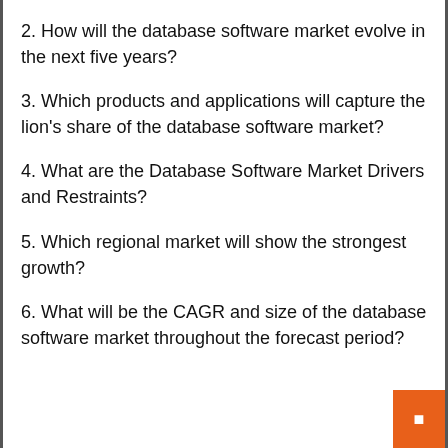2. How will the database software market evolve in the next five years?
3. Which products and applications will capture the lion's share of the database software market?
4. What are the Database Software Market Drivers and Restraints?
5. Which regional market will show the strongest growth?
6. What will be the CAGR and size of the database software market throughout the forecast period?